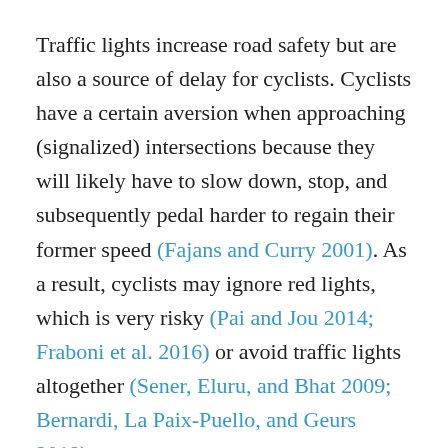Traffic lights increase road safety but are also a source of delay for cyclists. Cyclists have a certain aversion when approaching (signalized) intersections because they will likely have to slow down, stop, and subsequently pedal harder to regain their former speed (Fajans and Curry 2001). As a result, cyclists may ignore red lights, which is very risky (Pai and Jou 2014; Fraboni et al. 2016) or avoid traffic lights altogether (Sener, Eluru, and Bhat 2009; Bernardi, La Paix-Puello, and Geurs 2018).
In order to reduce waiting times for cyclists, several measures for traffic control have already been implemented.